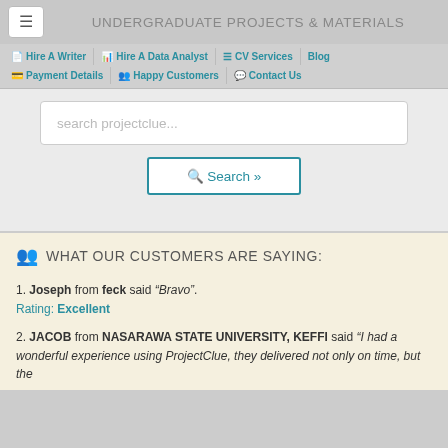UNDERGRADUATE PROJECTS & MATERIALS
Hire A Writer | Hire A Data Analyst | CV Services | Blog | Payment Details | Happy Customers | Contact Us
search projectclue...
Search »
WHAT OUR CUSTOMERS ARE SAYING:
1. Joseph from feck said "Bravo". Rating: Excellent
2. JACOB from NASARAWA STATE UNIVERSITY, KEFFI said "I had a wonderful experience using ProjectClue, they delivered not only on time, but the